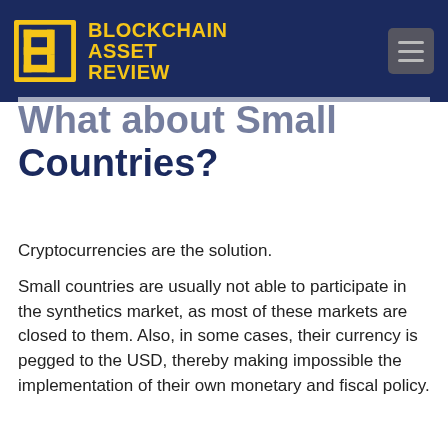BLOCKCHAIN ASSET REVIEW
What about Small Countries?
Cryptocurrencies are the solution.
Small countries are usually not able to participate in the synthetics market, as most of these markets are closed to them. Also, in some cases, their currency is pegged to the USD, thereby making impossible the implementation of their own monetary and fiscal policy.
For small countries, the alternate solution is cryptocurrencies, which are, in a sense, similar to derivatives: they are unregulated, and they can be created without any value backing them. In 2015 and